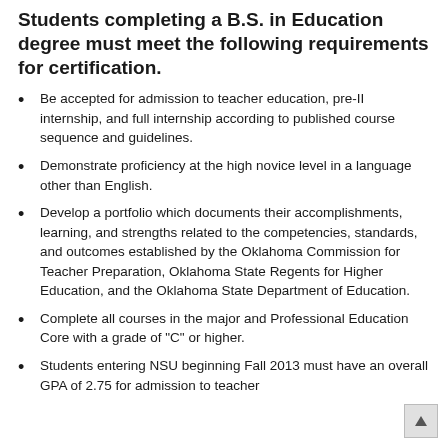Students completing a B.S. in Education degree must meet the following requirements for certification.
Be accepted for admission to teacher education, pre-II internship, and full internship according to published course sequence and guidelines.
Demonstrate proficiency at the high novice level in a language other than English.
Develop a portfolio which documents their accomplishments, learning, and strengths related to the competencies, standards, and outcomes established by the Oklahoma Commission for Teacher Preparation, Oklahoma State Regents for Higher Education, and the Oklahoma State Department of Education.
Complete all courses in the major and Professional Education Core with a grade of "C" or higher.
Students entering NSU beginning Fall 2013 must have an overall GPA of 2.75 for admission to teacher...